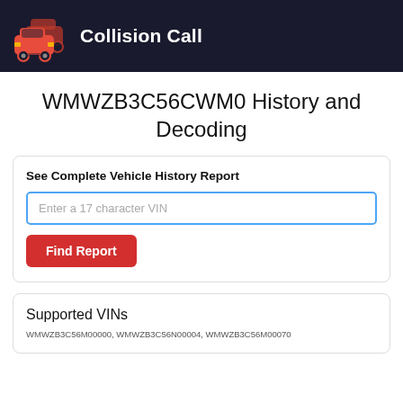Collision Call
WMWZB3C56CWM0 History and Decoding
See Complete Vehicle History Report
Enter a 17 character VIN
Find Report
Supported VINs
WMWZB3C56M00000, WMWZB3C56N00004, WMWZB3C56M00070